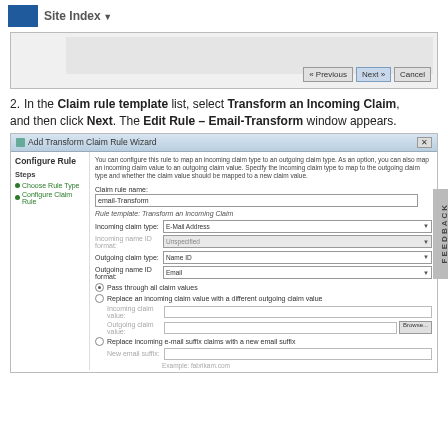Site Index
[Figure (screenshot): Screenshot of a wizard dialog showing Previous, Next, and Cancel buttons]
In the Claim rule template list, select Transform an Incoming Claim, and then click Next. The Edit Rule – Email-Transform window appears.
[Figure (screenshot): Add Transform Claim Rule Wizard dialog showing Configure Rule step with fields: Claim rule name (email-Transform), Rule template: Transform an Incoming Claim, Incoming claim type (E-Mail Address), Incoming name ID format (Unspecified), Outgoing claim type (Name ID), Outgoing name ID format (Email), radio buttons for Pass through all claim values and Replace an incoming claim value, and Replace incoming e-mail suffix claims with a new email suffix]